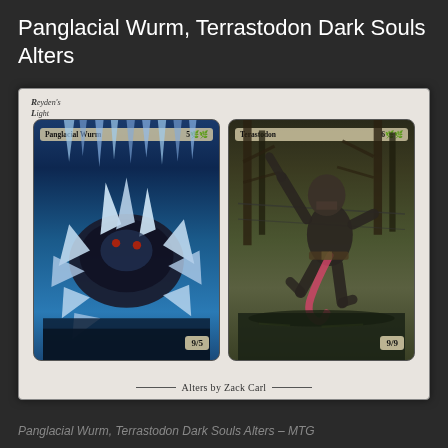Panglacial Wurm, Terrastodon Dark Souls Alters
[Figure (photo): Two Magic: The Gathering card alters side by side in a framed display. Left card: Panglacial Wurm with Dark Souls-inspired artwork showing a blue icy creature, stats 9/5. Right card: Terrastodon with Dark Souls-inspired artwork showing a skeletal humanoid figure in a swamp setting, stats 9/9. Bottom of frame reads 'Alters by Zack Carl'. Top left has a Reyden's Light watermark/logo.]
Panglacial Wurm, Terrastodon Dark Souls Alters – MTG